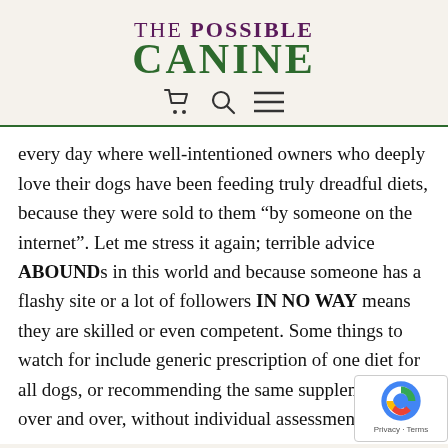[Figure (logo): The Possible Canine logo with dark green large CANINE text and purple THE POSSIBLE text above it]
every day where well-intentioned owners who deeply love their dogs have been feeding truly dreadful diets, because they were sold to them “by someone on the internet”. Let me stress it again; terrible advice ABOUNDs in this world and because someone has a flashy site or a lot of followers IN NO WAY means they are skilled or even competent. Some things to watch for include generic prescription of one diet for all dogs, or recommending the same supplements over and over, without individual assessment;